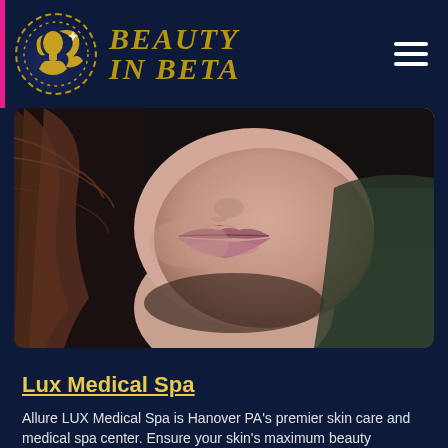Beauty In Beta
[Figure (photo): Close-up photo of a woman's lower face showing lips with natural nude/mauve lipstick and chin, with hair visible at left and a teal/grey clothing visible at right edge. Dark moody lighting.]
Lux Medical Spa
Allure LUX Medical Spa is Hanover PA’s premier skin care and medical spa center. Ensure your skin’s maximum beauty potential with Botox, microneedling ...